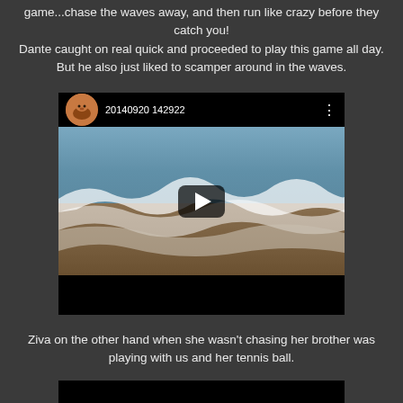game...chase the waves away, and then run like crazy before they catch you! Dante caught on real quick and proceeded to play this game all day. But he also just liked to scamper around in the waves.
[Figure (screenshot): Embedded video player showing a beach scene with ocean waves. The video thumbnail shows a brown/sandy beach with white-capped waves. The top bar shows a circular avatar of a dog (brown/tan colored) and the title '20140920 142922' with a three-dot menu. A play button is centered on the video.]
Ziva on the other hand when she wasn't chasing her brother was playing with us and her tennis ball.
[Figure (screenshot): Partial view of a second embedded video player showing a beach scene with bright sky and water at the bottom of the page.]